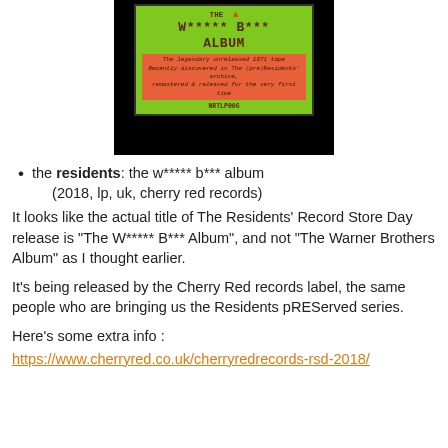[Figure (photo): Album cover image for The W***** B*** Album by The Residents, showing a green record label with orange subtitle band, on a dark/black background. Label text reads: THE W***** B*** ALBUM, The legendary unreleased 1971 tape / Recently discovered in The (pre)Residents' archive, / remastered & released for the very first time, NRTLP006]
the residents: the w***** b*** album (2018, lp, uk, cherry red records)
It looks like the actual title of The Residents' Record Store Day release is "The W***** B*** Album", and not "The Warner Brothers Album" as I thought earlier.
It's being released by the Cherry Red records label, the same people who are bringing us the Residents pREServed series.
Here's some extra info :
https://www.cherryred.co.uk/cherryredrecords-rsd-2018/